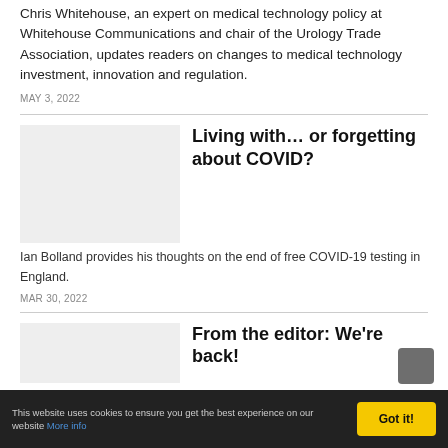Chris Whitehouse, an expert on medical technology policy at Whitehouse Communications and chair of the Urology Trade Association, updates readers on changes to medical technology investment, innovation and regulation.
MAY 3, 2022
Living with... or forgetting about COVID?
Ian Bolland provides his thoughts on the end of free COVID-19 testing in England.
MAR 30, 2022
From the editor: We're back!
This website uses cookies to ensure you get the best experience on our website More info